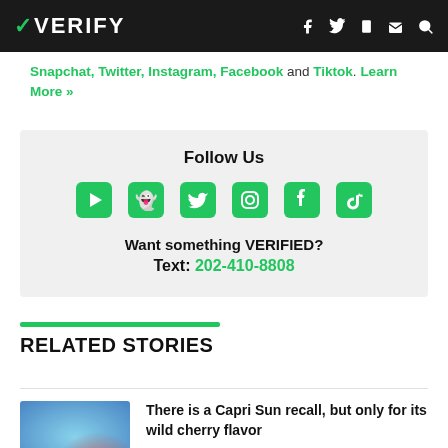VERIFY
Snapchat, Twitter, Instagram, Facebook and TikTok. Learn More »
Follow Us
[social icons: YouTube, Snapchat, Twitter, Instagram, Facebook, TikTok]
Want something VERIFIED?
Text: 202-410-8808
RELATED STORIES
There is a Capri Sun recall, but only for its wild cherry flavor